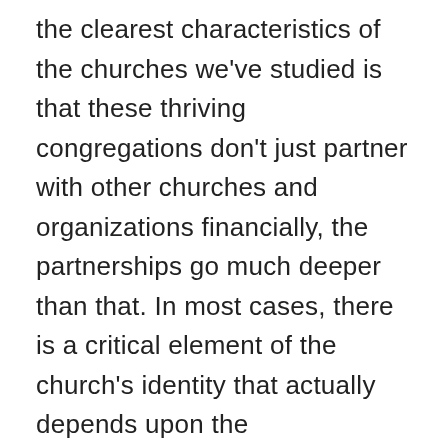the clearest characteristics of the churches we've studied is that these thriving congregations don't just partner with other churches and organizations financially, the partnerships go much deeper than that. In most cases, there is a critical element of the church's identity that actually depends upon the resources/energy/know-how provided by that partner.  What we're seeing isn't so much a partnership but an ecosystem of cooperation that requires mutual dependency for mutual thriving.  In one congregation it's a partnership with other churches, in another it's a partnership with a school, in still another it's a partnership with local government, but in every case something catalytic is produced